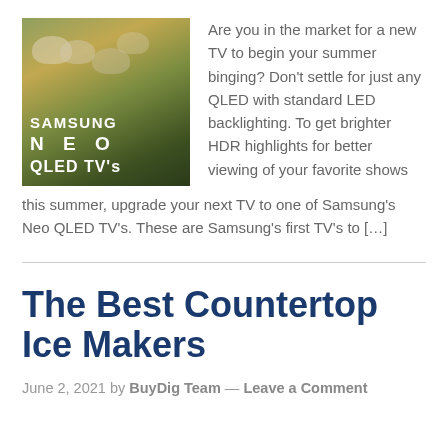[Figure (photo): Samsung Neo QLED TV's promotional image showing sheep in a field with overlaid text: SAMSUNG, NEO (spaced letters), QLED TV's]
Are you in the market for a new TV to begin your summer binging? Don't settle for just any QLED with standard LED backlighting. To get brighter HDR highlights for better viewing of your favorite shows this summer, upgrade your next TV to one of Samsung's Neo QLED TV's. These are Samsung's first TV's to […]
The Best Countertop Ice Makers
June 2, 2021 by BuyDig Team — Leave a Comment